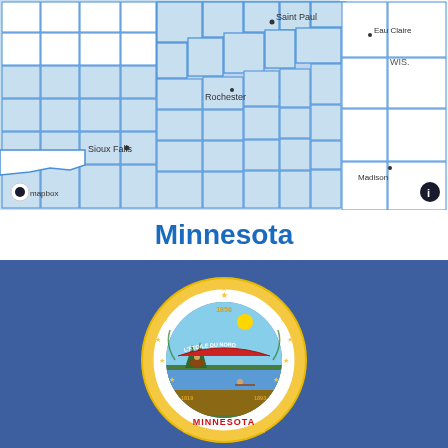[Figure (map): Mapbox map showing Minnesota and surrounding states with county boundaries outlined in blue. City labels include Saint Paul, Eau Claire, Sioux Falls, Rochester, Madison. Counties shown as white/light blue grid-like shapes with blue borders. Mapbox attribution logo visible in bottom left corner, info button in bottom right.]
Minnesota
[Figure (photo): Minnesota state flag: blue background with the state seal in the center. The seal features a white circle with gold/yellow border decorated with stars, containing the state coat of arms with a farmer plowing, a Native American on horseback, a river, pine trees, and the text '1858', 'PETOILE DU NORD', '1819', '1893'. The word 'MINNESOTA' appears at the bottom of the seal in red letters. Stars surround the outer ring of the seal.]